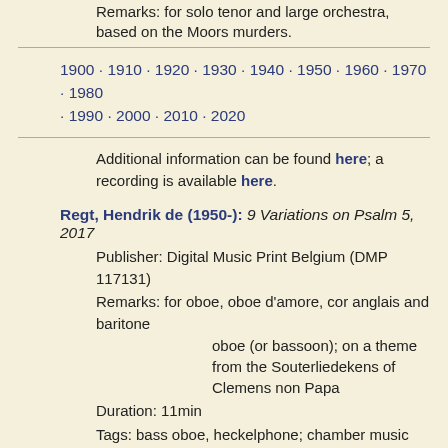Remarks: for solo tenor and large orchestra, based on the Moors murders.
1900 · 1910 · 1920 · 1930 · 1940 · 1950 · 1960 · 1970 · 1980 · 1990 · 2000 · 2010 · 2020
Additional information can be found here; a recording is available here.
Regt, Hendrik de (1950-): 9 Variations on Psalm 5, 2017
Publisher: Digital Music Print Belgium (DMP 117131)
Remarks: for oboe, oboe d'amore, cor anglais and baritone oboe (or bassoon); on a theme from the Souterliedekens of Clemens non Papa
Duration: 11min
Tags: bass oboe, heckelphone; chamber music
A recording is available here.
Slater, Angela Elizabeth (1989-): Fractal Light, 2017
Remarks: for oboe, oboe d'amore, cor anglais and bass oboe; written for the London Oboe Quartet
Duration: 10min
Tags: bass oboe; chamber music